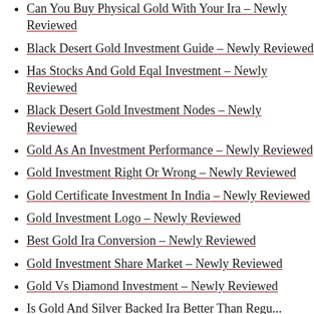Can You Buy Physical Gold With Your Ira – Newly Reviewed
Black Desert Gold Investment Guide – Newly Reviewed
Has Stocks And Gold Eqal Investment – Newly Reviewed
Black Desert Gold Investment Nodes – Newly Reviewed
Gold As An Investment Performance – Newly Reviewed
Gold Investment Right Or Wrong – Newly Reviewed
Gold Certificate Investment In India – Newly Reviewed
Gold Investment Logo – Newly Reviewed
Best Gold Ira Conversion – Newly Reviewed
Gold Investment Share Market – Newly Reviewed
Gold Vs Diamond Investment – Newly Reviewed
Is Gold And Silver Backed Ira Better Than Regular...